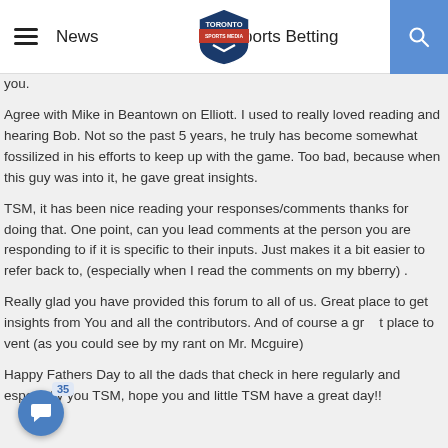News | Toronto Sports Media | Sports Betting
you.
Agree with Mike in Beantown on Elliott. I used to really loved reading and hearing Bob. Not so the past 5 years, he truly has become somewhat fossilized in his efforts to keep up with the game. Too bad, because when this guy was into it, he gave great insights.
TSM, it has been nice reading your responses/comments thanks for doing that. One point, can you lead comments at the person you are responding to if it is specific to their inputs. Just makes it a bit easier to refer back to, (especially when I read the comments on my bberry) .
Really glad you have provided this forum to all of us. Great place to get insights from You and all the contributors. And of course a great place to vent (as you could see by my rant on Mr. Mcguire)
Happy Fathers Day to all the dads that check in here regularly and especially you TSM, hope you and little TSM have a great day!!